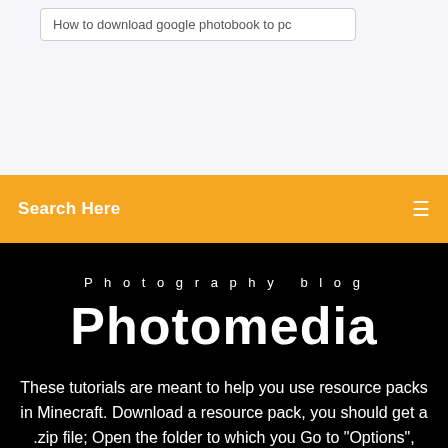[Figure (screenshot): Top section with light blue-gray background showing a search input box with text 'How to download google photobook to pc']
Search Here
Photography blog
Photomedia
These tutorials are meant to help you use resource packs in Minecraft. Download a resource pack, you should get a .zip file; Open the folder to which you Go to "Options", then "resource packs" your texture pack should be there. Have